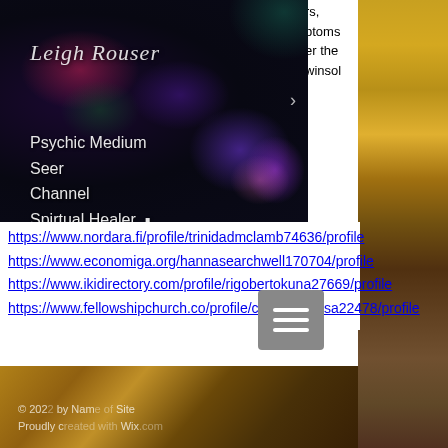[Figure (screenshot): Leigh Rouser psychic medium website banner with dark nebula background, showing name 'Leigh Rouser' in italic script and text: Psychic Medium, Seer, Channel, Spirtual Healer]
rs, ptoms er the winsol
https://www.nordara.fi/profile/trinidadmclamb74636/profile
https://www.economiga.org/hannasearchwell170704/profile
https://www.ikidirectory.com/profile/rigobertokuna27669/profile
https://www.fellowshipchurch.co/profile/clementearisa22478/profile
[Figure (screenshot): Footer with golden painted texture background and copyright text: © 2022 by Name of Site. Proudly created with Wix.com]
© 2022 by Name of Site
Proudly created with Wix.com